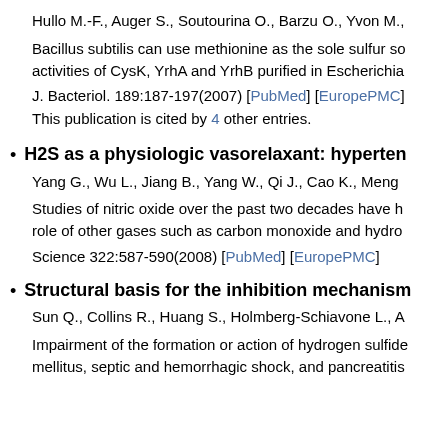Hullo M.-F., Auger S., Soutourina O., Barzu O., Yvon M.,
Bacillus subtilis can use methionine as the sole sulfur source: activities of CysK, YrhA and YrhB purified in Escherichia
J. Bacteriol. 189:187-197(2007) [PubMed] [EuropePMC]
This publication is cited by 4 other entries.
H2S as a physiologic vasorelaxant: hyperten
Yang G., Wu L., Jiang B., Yang W., Qi J., Cao K., Meng
Studies of nitric oxide over the past two decades have h role of other gases such as carbon monoxide and hydro
Science 322:587-590(2008) [PubMed] [EuropePMC]
Structural basis for the inhibition mechanism
Sun Q., Collins R., Huang S., Holmberg-Schiavone L., A
Impairment of the formation or action of hydrogen sulfide mellitus, septic and hemorrhagic shock, and pancreatitis